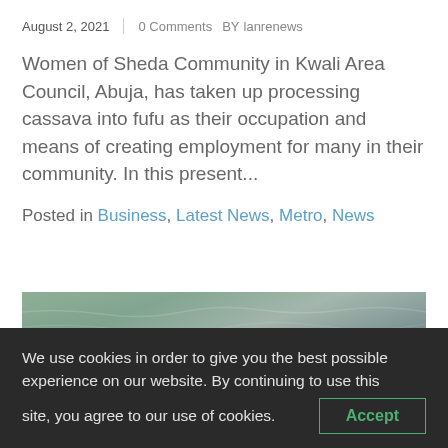August 2, 2021  |  0 Comments  BY lanrenews
Women of Sheda Community in Kwali Area Council, Abuja, has taken up processing cassava into fufu as their occupation and means of creating employment for many in their community. In this present...
Posted in Business, Latest News, Metro, News
[Figure (photo): Aerial or close-up photo of water surface with rippling textures, brownish and greenish tones, possibly showing fish or debris in water]
We use cookies in order to give you the best possible experience on our website. By continuing to use this site, you agree to our use of cookies.